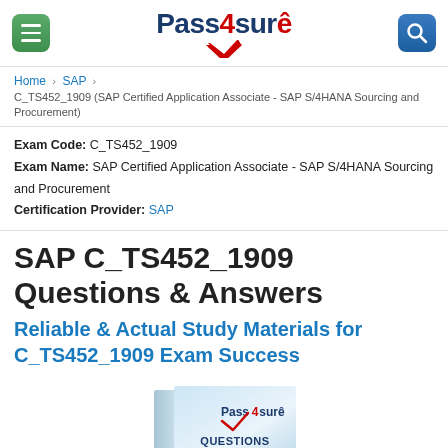Pass4sure
Home > SAP > C_TS452_1909 (SAP Certified Application Associate - SAP S/4HANA Sourcing and Procurement)
Exam Code: C_TS452_1909
Exam Name: SAP Certified Application Associate - SAP S/4HANA Sourcing and Procurement
Certification Provider: SAP
SAP C_TS452_1909 Questions & Answers
Reliable & Actual Study Materials for C_TS452_1909 Exam Success
[Figure (illustration): Pass4sure exam questions and answers book cover illustration showing a teal/blue book with Pass4sure logo and QUESTIONS text]